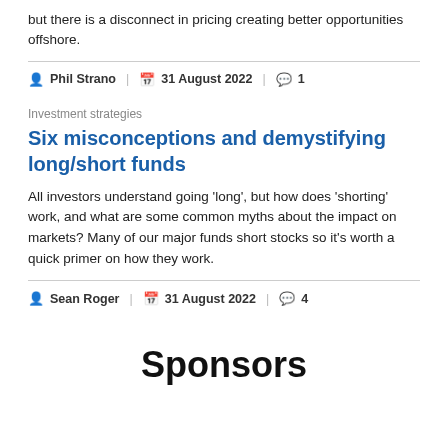but there is a disconnect in pricing creating better opportunities offshore.
Phil Strano | 31 August 2022 | 1
Investment strategies
Six misconceptions and demystifying long/short funds
All investors understand going 'long', but how does 'shorting' work, and what are some common myths about the impact on markets? Many of our major funds short stocks so it's worth a quick primer on how they work.
Sean Roger | 31 August 2022 | 4
Sponsors